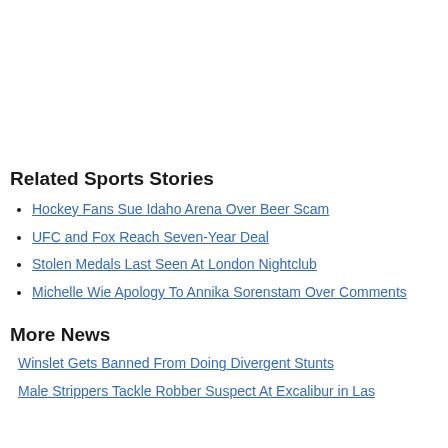Related Sports Stories
Hockey Fans Sue Idaho Arena Over Beer Scam
UFC and Fox Reach Seven-Year Deal
Stolen Medals Last Seen At London Nightclub
Michelle Wie Apology To Annika Sorenstam Over Comments
More News
Winslet Gets Banned From Doing Divergent Stunts
Male Strippers Tackle Robber Suspect At Excalibur in Las